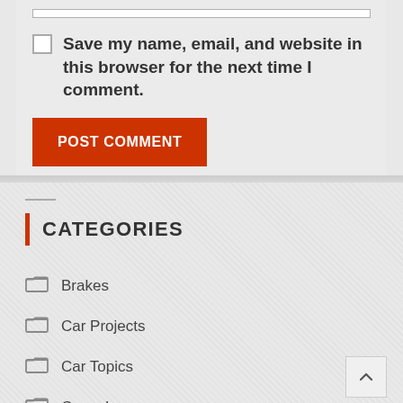Save my name, email, and website in this browser for the next time I comment.
POST COMMENT
CATEGORIES
Brakes
Car Projects
Car Topics
Casual